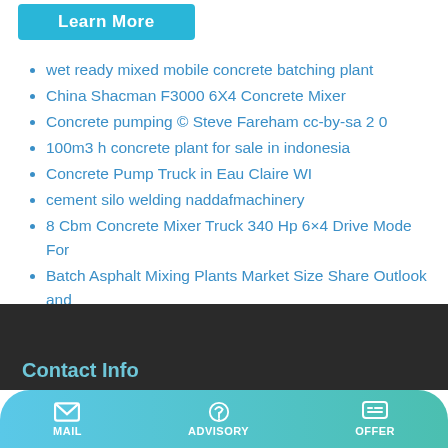[Figure (other): Learn More button - cyan/teal colored button]
wet ready mixed mobile concrete batching plant
China Shacman F3000 6X4 Concrete Mixer
Concrete pumping © Steve Fareham cc-by-sa 2 0
100m3 h concrete plant for sale in indonesia
Concrete Pump Truck in Eau Claire WI
cement silo welding naddafmachinery
8 Cbm Concrete Mixer Truck 340 Hp 6×4 Drive Mode For
Batch Asphalt Mixing Plants Market Size Share Outlook and
concrete mixer with 9m3 Nigeria
Best 18 Concrete Pumping Contractors in Dyer IN
Contact Info
MAIL   ADVISORY   OFFER